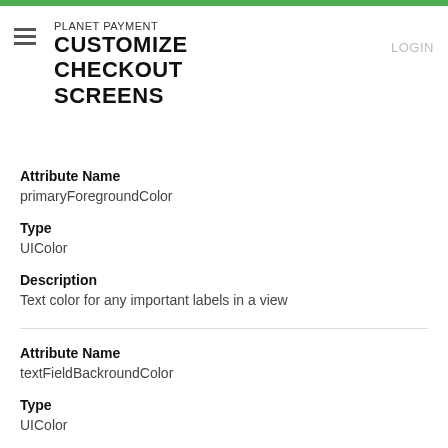PLANET PAYMENT CUSTOMIZE CHECKOUT SCREENS
Attribute Name
primaryForegroundColor
Type
UIColor
Description
Text color for any important labels in a view
Attribute Name
textFieldBackroundColor
Type
UIColor
Description
Background color of text fields